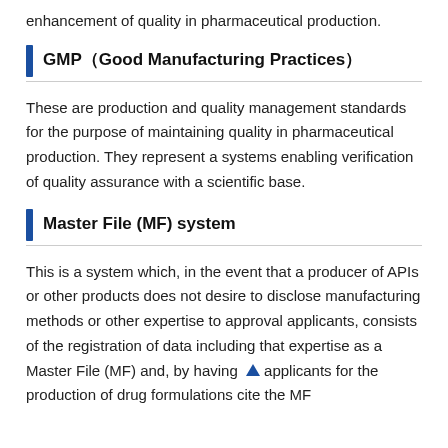enhancement of quality in pharmaceutical production.
GMP（Good Manufacturing Practices）
These are production and quality management standards for the purpose of maintaining quality in pharmaceutical production. They represent a systems enabling verification of quality assurance with a scientific base.
Master File (MF) system
This is a system which, in the event that a producer of APIs or other products does not desire to disclose manufacturing methods or other expertise to approval applicants, consists of the registration of data including that expertise as a Master File (MF) and, by having applicants for the production of drug formulations cite the MF